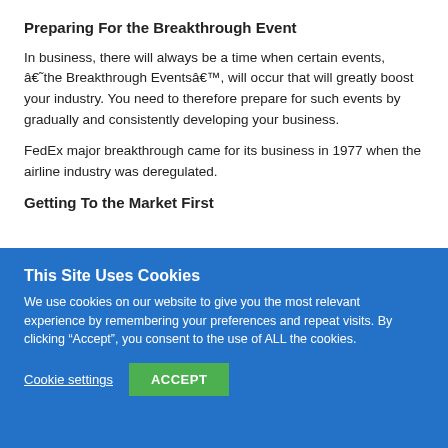Preparing For the Breakthrough Event
In business, there will always be a time when certain events, â€˜the Breakthrough Eventsâ€™, will occur that will greatly boost your industry. You need to therefore prepare for such events by gradually and consistently developing your business.
FedEx major breakthrough came for its business in 1977 when the airline industry was deregulated.
Getting To the Market First
This Site Uses Cookies
We use cookies on our website to give you the most relevant experience by remembering your preferences and repeat visits. By clicking “Accept”, you consent to the use of ALL the cookies.
Cookie settings
ACCEPT